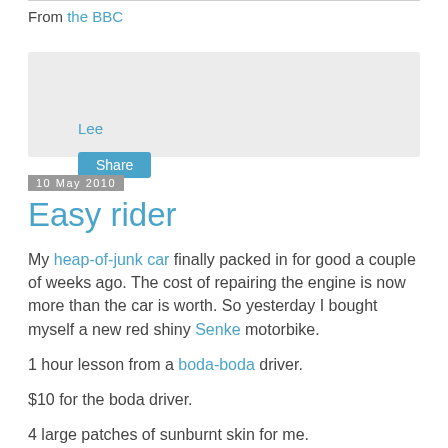From the BBC
Lee
Share
10 May 2010
Easy rider
My heap-of-junk car finally packed in for good a couple of weeks ago. The cost of repairing the engine is now more than the car is worth. So yesterday I bought myself a new red shiny Senke motorbike.
1 hour lesson from a boda-boda driver.
$10 for the boda driver.
4 large patches of sunburnt skin for me.